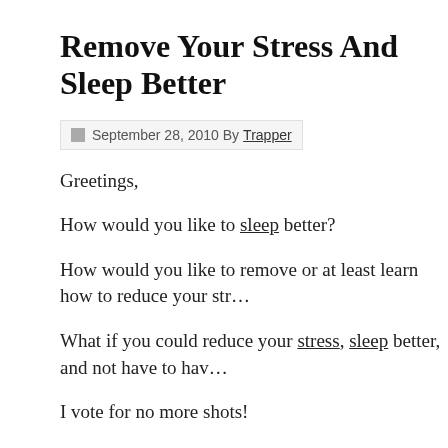Remove Your Stress And Sleep Better
September 28, 2010 By Trapper
Greetings,
How would you like to sleep better?
How would you like to remove or at least learn how to reduce your str…
What if you could reduce your stress, sleep better, and not have to hav…
I vote for no more shots!
Maybe you do too.
In today's podcast I discuss about an article I read about a neuroscience Robert Sapolsky who after 30 years of studies has discovered a vaccin… only has been used on rats, so no worries about rolling your sleeves up…
But what if you could learn how to relax yourself, reduce your stress a…